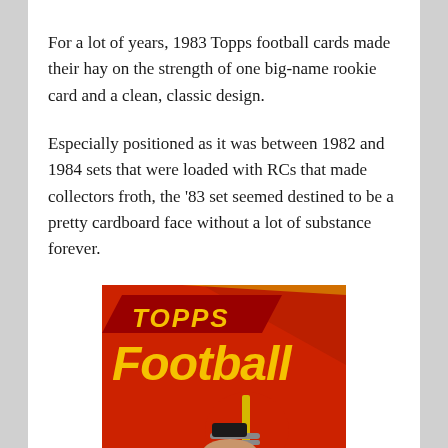For a lot of years, 1983 Topps football cards made their hay on the strength of one big-name rookie card and a clean, classic design.
Especially positioned as it was between 1982 and 1984 sets that were loaded with RCs that made collectors froth, the '83 set seemed destined to be a pretty cardboard face without a lot of substance forever.
[Figure (illustration): 1983 Topps Football card pack wrapper showing red background with 'Topps Football' logo text in yellow and a illustrated football player wearing a red helmet]